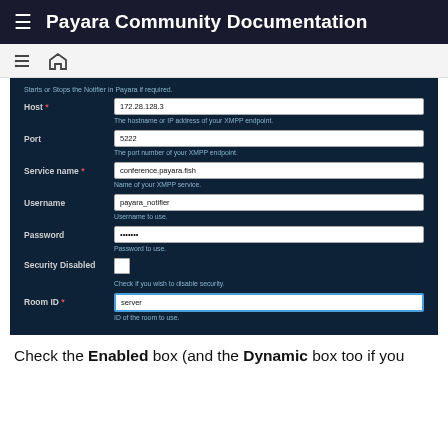Payara Community Documentation
[Figure (screenshot): A web form with fields: Host (172.28.128.3), Port (5222), Service name (conference.payara.fish), Username (payara_notifier), Password (•••••••), Security Disabled (checkbox), Room ID (server). Dark navy background with white input fields.]
Check the Enabled box (and the Dynamic box too if you